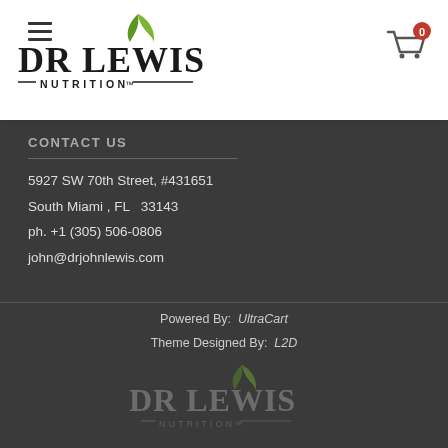[Figure (logo): Dr Lewis Nutrition logo with green leaf in white header bar]
CONTACT US
5927 SW 70th Street, #431651
South Miami , FL  33143
ph. +1 (305) 506-0806
john@drjohnlewis.com
Powered By:  UltraCart
Theme Designed By:  L2D
[Figure (logo): Dr Lewis Nutrition logo (dark/watermark version) at bottom of page]